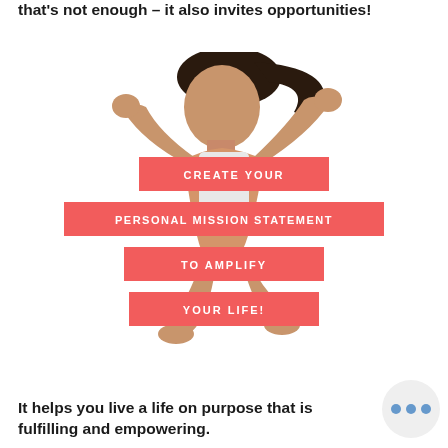that's not enough – it also invites opportunities!
[Figure (illustration): Woman jumping joyfully with fists raised, wearing white athletic wear, with red banner overlays reading: CREATE YOUR / PERSONAL MISSION STATEMENT / TO AMPLIFY / YOUR LIFE!]
It helps you live a life on purpose that is fulfilling and empowering.